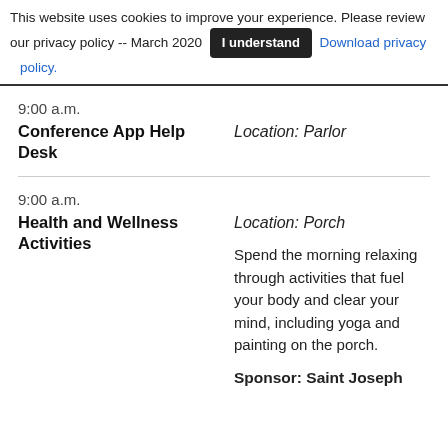This website uses cookies to improve your experience. Please review our privacy policy -- March 2020  I understand  Download privacy policy.
9:00 a.m.
Conference App Help Desk
Location: Parlor
9:00 a.m.
Health and Wellness Activities
Location: Porch
Spend the morning relaxing through activities that fuel your body and clear your mind, including yoga and painting on the porch.
Sponsor: Saint Joseph